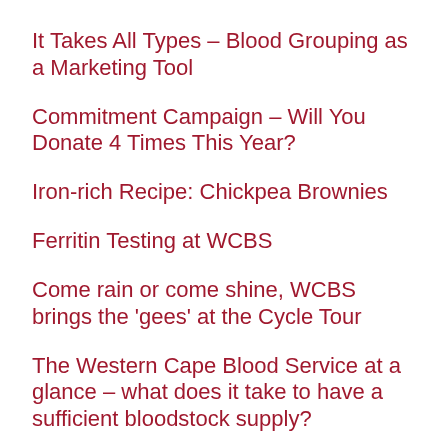It Takes All Types – Blood Grouping as a Marketing Tool
Commitment Campaign – Will You Donate 4 Times This Year?
Iron-rich Recipe: Chickpea Brownies
Ferritin Testing at WCBS
Come rain or come shine, WCBS brings the 'gees' at the Cycle Tour
The Western Cape Blood Service at a glance – what does it take to have a sufficient bloodstock supply?